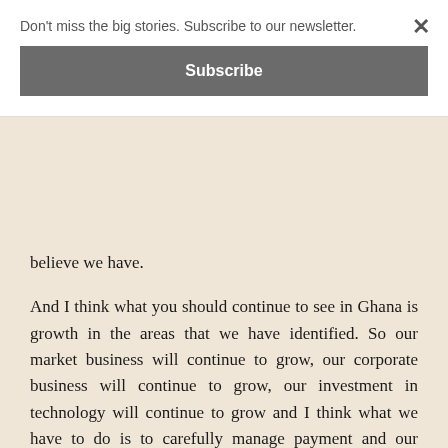Don't miss the big stories. Subscribe to our newsletter.
Subscribe
believe we have.
And I think what you should continue to see in Ghana is growth in the areas that we have identified. So our market business will continue to grow, our corporate business will continue to grow, our investment in technology will continue to grow and I think what we have to do is to carefully manage payment and our relationships with customers in this tough economic times.
Citi Business News: A lot of issues keep on coming up with regards to small and medium